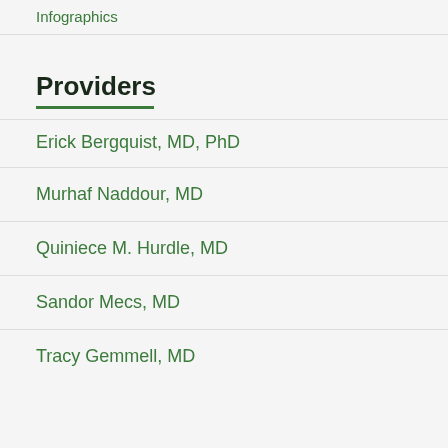Infographics
Providers
Erick Bergquist, MD, PhD
Murhaf Naddour, MD
Quiniece M. Hurdle, MD
Sandor Mecs, MD
Tracy Gemmell, MD